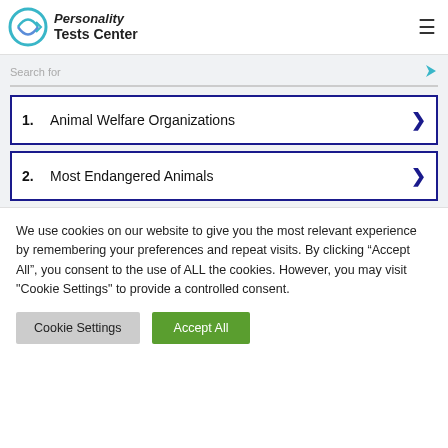Personality Tests Center
1. Animal Welfare Organizations
2. Most Endangered Animals
We use cookies on our website to give you the most relevant experience by remembering your preferences and repeat visits. By clicking “Accept All”, you consent to the use of ALL the cookies. However, you may visit "Cookie Settings" to provide a controlled consent.